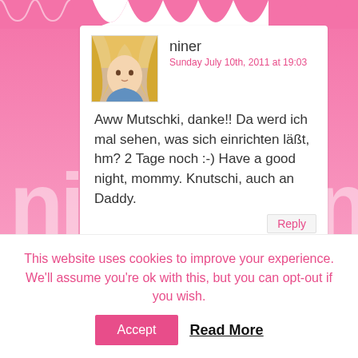[Figure (screenshot): Blog comment section with pink decorative background, scallop top border, two comment blocks, and cookie consent banner at bottom.]
niner
Sunday July 10th, 2011 at 19:03
Aww Mutschki, danke!! Da werd ich mal sehen, was sich einrichten läßt, hm? 2 Tage noch :-) Have a good night, mommy. Knutschi, auch an Daddy.
Heidi @ Food Doodles
Tuesday July 12th, 2011 at 02:06
Those are so cute! I love the sanding sugar on them :D
This website uses cookies to improve your experience. We'll assume you're ok with this, but you can opt-out if you wish.